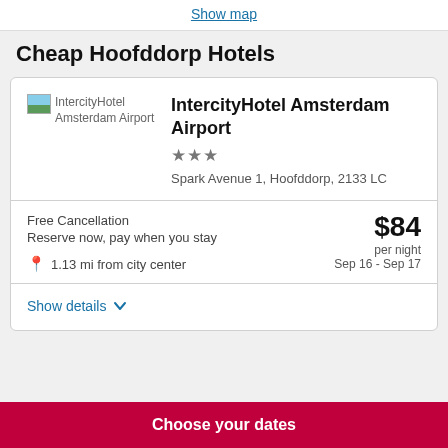Show map
Cheap Hoofddorp Hotels
[Figure (photo): Hotel image placeholder for IntercityHotel Amsterdam Airport]
IntercityHotel Amsterdam Airport
★★★
Spark Avenue 1, Hoofddorp, 2133 LC
Free Cancellation
Reserve now, pay when you stay
1.13 mi from city center
$84 per night Sep 16 - Sep 17
Show details
Choose your dates